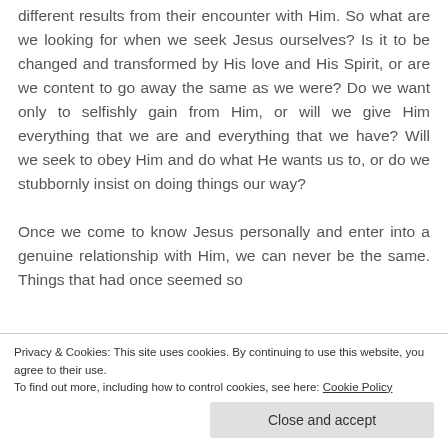different results from their encounter with Him. So what are we looking for when we seek Jesus ourselves? Is it to be changed and transformed by His love and His Spirit, or are we content to go away the same as we were? Do we want only to selfishly gain from Him, or will we give Him everything that we are and everything that we have? Will we seek to obey Him and do what He wants us to, or do we stubbornly insist on doing things our way?

Once we come to know Jesus personally and enter into a genuine relationship with Him, we can never be the same. Things that had once seemed so
Privacy & Cookies: This site uses cookies. By continuing to use this website, you agree to their use.
To find out more, including how to control cookies, see here: Cookie Policy
Close and accept
Zacchaeus' change was immediate and evident, and